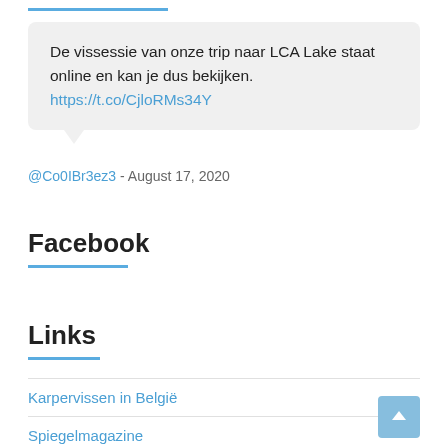De vissessie van onze trip naar LCA Lake staat online en kan je dus bekijken. https://t.co/CjloRMs34Y
@Co0IBr3ez3 - August 17, 2020
Facebook
Links
Karpervissen in België
Spiegelmagazine
Partikels kant en klaar